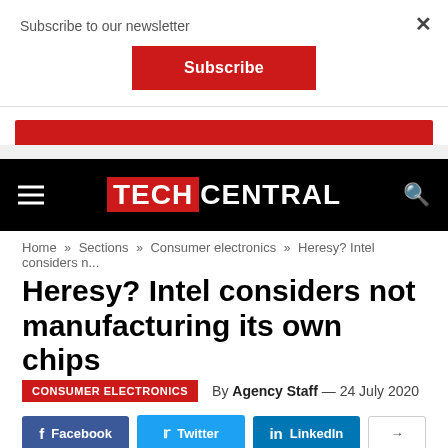Subscribe to our newsletter
Subscribe
TECHCENTRAL
Home » Sections » Consumer electronics » Heresy? Intel considers n...
Heresy? Intel considers not manufacturing its own chips
CONSUMER ELECTRONICS  By Agency Staff — 24 July 2020
Facebook  Twitter  LinkedIn